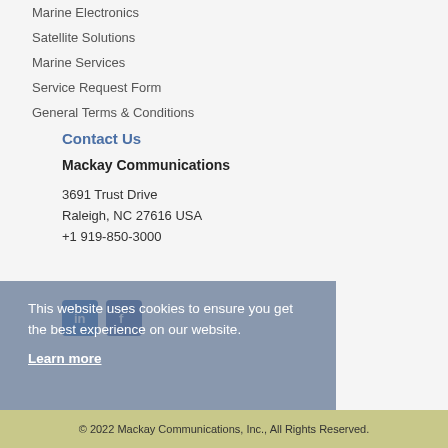Marine Electronics
Satellite Solutions
Marine Services
Service Request Form
General Terms & Conditions
Contact Us
Mackay Communications
3691 Trust Drive
Raleigh, NC 27616 USA
+1 919-850-3000
This website uses cookies to ensure you get the best experience on our website.
Learn more
© 2022 Mackay Communications, Inc., All Rights Reserved.